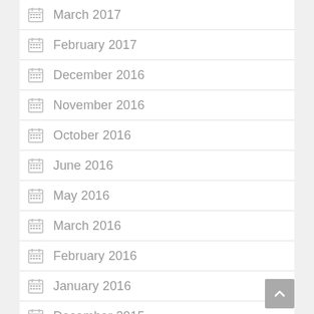March 2017
February 2017
December 2016
November 2016
October 2016
June 2016
May 2016
March 2016
February 2016
January 2016
December 2015
November 2015